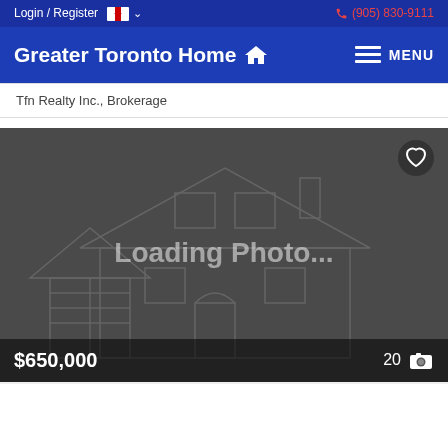Login / Register  🇨🇦 ∨    (905) 830-9111
Greater Toronto Home 🏠   ≡ MENU
Tfn Realty Inc., Brokerage
[Figure (photo): Listing card with a dark grey placeholder background showing a wireframe house outline and 'Loading Photo...' text. Price $650,000 shown bottom-left, '20' with camera icon bottom-right. Heart icon top-right.]
$650,000   20 📷